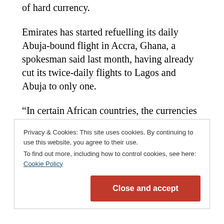of hard currency.
Emirates has started refuelling its daily Abuja-bound flight in Accra, Ghana, a spokesman said last month, having already cut its twice-daily flights to Lagos and Abuja to only one.
“In certain African countries, the currencies have really gone down, so we’re reflecting on a number of these to look at where it’s just not worth us travelling,” Emirates President Tim Clark said on the sidelines of an International
Privacy & Cookies: This site uses cookies. By continuing to use this website, you agree to their use.
To find out more, including how to control cookies, see here: Cookie Policy
Close and accept